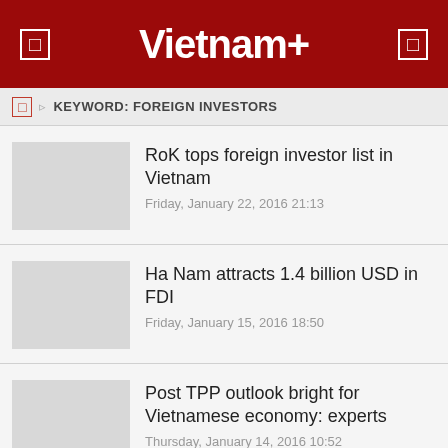Vietnam+
KEYWORD: FOREIGN INVESTORS
RoK tops foreign investor list in Vietnam
Friday, January 22, 2016 21:13
Ha Nam attracts 1.4 billion USD in FDI
Friday, January 15, 2016 18:50
Post TPP outlook bright for Vietnamese economy: experts
Thursday, January 14, 2016 10:52